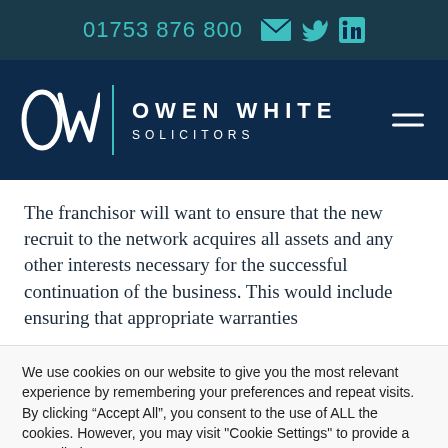01753 876 800
[Figure (logo): Owen White Solicitors logo with OW monogram and text]
The franchisor will want to ensure that the new recruit to the network acquires all assets and any other interests necessary for the successful continuation of the business. This would include ensuring that appropriate warranties
We use cookies on our website to give you the most relevant experience by remembering your preferences and repeat visits. By clicking “Accept All”, you consent to the use of ALL the cookies. However, you may visit "Cookie Settings" to provide a controlled consent.